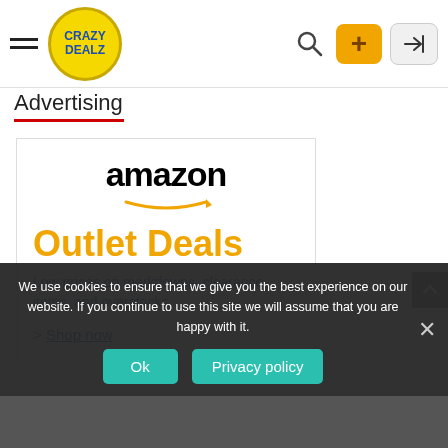Crazy Dealz — Navigation bar with hamburger menu, logo, search, plus button, login button
Advertising
[Figure (illustration): Amazon Outlet Deals advertisement banner: Amazon logo with arrow, large orange text 'Outlet Deals', blue subtitle 'Low prices on markdowns, clearance items, and overstocks', and a 'Shop now' link]
We use cookies to ensure that we give you the best experience on our website. If you continue to use this site we will assume that you are happy with it.
Ok
Privacy policy